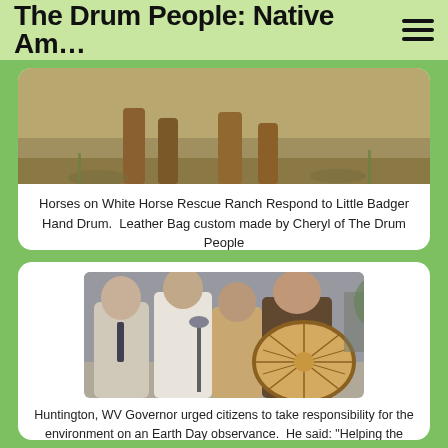The Drum People: Native Am…
[Figure (photo): Partial photo of horses on White Horse Rescue Ranch, showing feet/hooves at ground level.]
Horses on White Horse Rescue Ranch Respond to Little Badger Hand Drum.  Leather Bag custom made by Cheryl of The Drum People
[Figure (photo): Group of people outdoors at a microphone stand; a woman on the right holds a large round Native American hand drum. Several men stand behind her, one in a white shirt near the microphone.]
Huntington, WV Governor urged citizens to take responsibility for the environment on an Earth Day observance.  He said: "Helping the environment doesn't take a